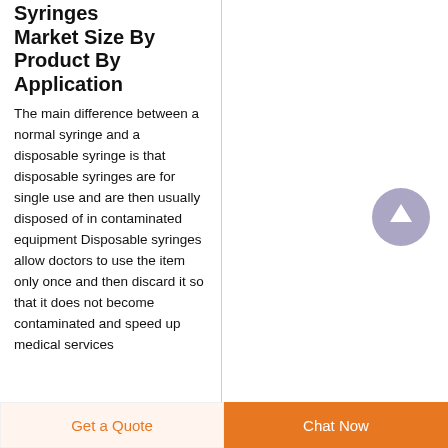Syringes Market Size By Product By Application
The main difference between a normal syringe and a disposable syringe is that disposable syringes are for single use and are then usually disposed of in contaminated equipment Disposable syringes allow doctors to use the item only once and then discard it so that it does not become contaminated and speed up medical services
[Figure (other): Circular scroll-to-top button with upward arrow, grey/purple color]
Get a Quote   Chat Now